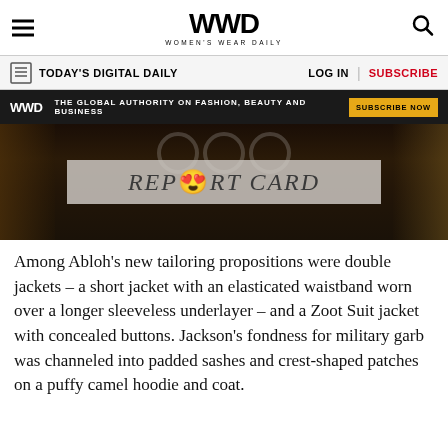WWD — WOMEN'S WEAR DAILY
TODAY'S DIGITAL DAILY | LOG IN | SUBSCRIBE
WWD — THE GLOBAL AUTHORITY ON FASHION, BEAUTY AND BUSINESS — SUBSCRIBE NOW
[Figure (photo): Hero image with dark background showing figures and a 'REPORT CARD' overlay text with heart-eyes emoji replacing the letter O]
Among Abloh's new tailoring propositions were double jackets – a short jacket with an elasticated waistband worn over a longer sleeveless underlayer – and a Zoot Suit jacket with concealed buttons. Jackson's fondness for military garb was channeled into padded sashes and crest-shaped patches on a puffy camel hoodie and coat.